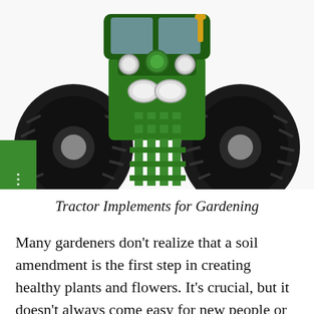[Figure (photo): Front-facing view of a large green John Deere tractor with dual wheels on each side and green implement attached at the front, photographed against a white background. A green sidebar with three white dots appears on the left edge.]
Tractor Implements for Gardening
Many gardeners don't realize that a soil amendment is the first step in creating healthy plants and flowers. It's crucial, but it doesn't always come easy for new people or hasn't done this before! By adding organic matter to your yard- dirt from previous plantings mixed with animal manure